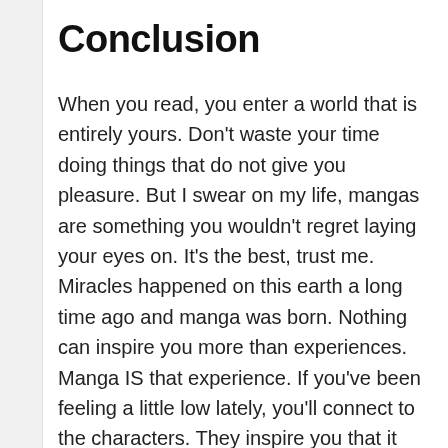Conclusion
When you read, you enter a world that is entirely yours. Don’t waste your time doing things that do not give you pleasure. But I swear on my life, mangas are something you wouldn’t regret laying your eyes on. It’s the best, trust me. Miracles happened on this earth a long time ago and manga was born. Nothing can inspire you more than experiences. Manga IS that experience. If you’ve been feeling a little low lately, you’ll connect to the characters. They inspire you that it was, it is and it will always be you to help yourself out of a crisis. That your feelings are still valid and no matter what, you are not allowed to give up on yourself. That these beautiful things still exist in this chaotic world of